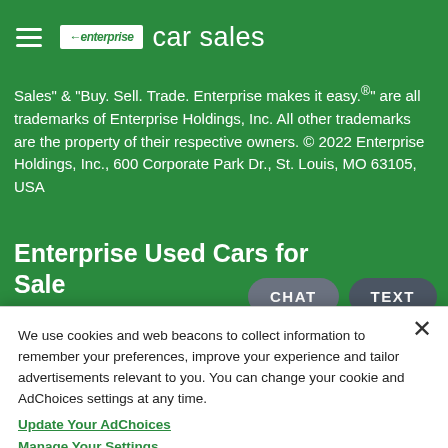enterprise car sales
Sales" & "Buy. Sell. Trade. Enterprise makes it easy.®" are all trademarks of Enterprise Holdings, Inc. All other trademarks are the property of their respective owners. © 2022 Enterprise Holdings, Inc., 600 Corporate Park Dr., St. Louis, MO 63105, USA
Enterprise Used Cars for Sale
All of our used car dealerships offer no-haggle pricing, which
We use cookies and web beacons to collect information to remember your preferences, improve your experience and tailor advertisements relevant to you. You can change your cookie and AdChoices settings at any time.
Update Your AdChoices
Manage Your Settings